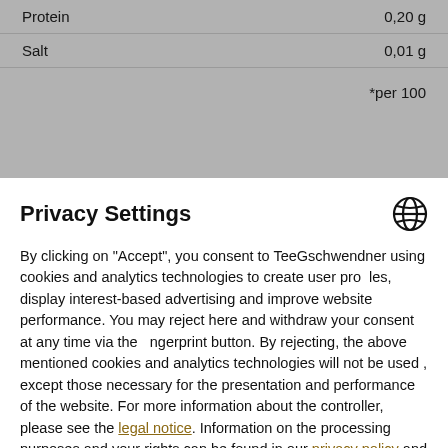| Nutrient | Amount |
| --- | --- |
| Protein | 0,20 g |
| Salt | 0,01 g |
*per 100
Privacy Settings
By clicking on "Accept", you consent to TeeGschwendner using cookies and analytics technologies to create user pro les, display interest-based advertising and improve website performance. You may reject here and withdraw your consent at any time via the  ngerprint button. By rejecting, the above mentioned cookies and analytics technologies will not be used , except those necessary for the presentation and performance of the website. For more information about the controller, please see the legal notice. Information on the processing purposes and your rights can be found in our privacy policy and via the details button.
Accept
Reject
Powered by Usercentrics Consent Management & Trusted Shops